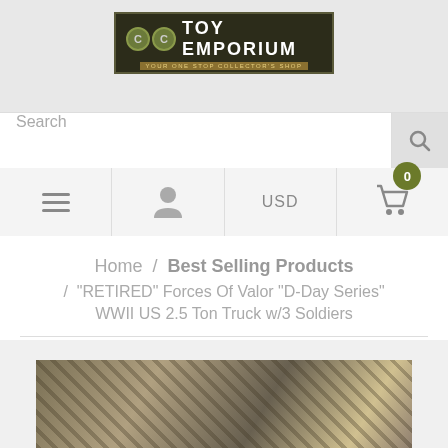[Figure (logo): CC Toy Emporium logo - military style logo with circular CC icon and text, subtitle 'YOUR ONE STOP COLLECTOR'S SHOP']
Search
USD
0
Home / Best Selling Products / "RETIRED" Forces Of Valor "D-Day Series" WWII US 2.5 Ton Truck w/3 Soldiers
[Figure (photo): Partial product image of WWII US 2.5 Ton Truck with soldiers - military vehicle in earth tones]